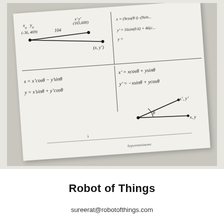[Figure (photo): Photograph of handwritten math notes on paper showing coordinate rotation formulas: x = x'cosθ - y'sinθ, y = x'sinθ + y'cosθ, x' = xcosθ + ysinθ, y' = -xsinθ + ycosθ, with a diagram showing coordinate rotation and points labeled (x,y), (x',y'), (-36, 469), (165,600), and equations for coordinate transformations.]
Robot of Things
sureerat@robotofthings.com